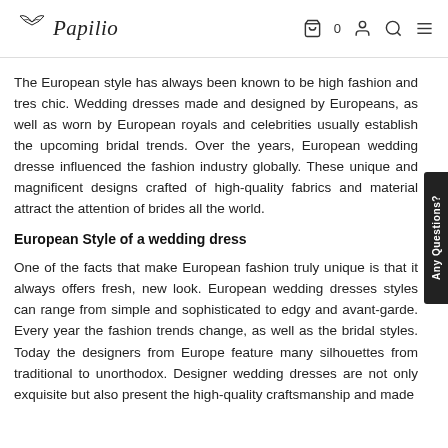Papilio — navigation header with cart, account, search, and menu icons
The European style has always been known to be high fashion and tres chic. Wedding dresses made and designed by Europeans, as well as worn by European royals and celebrities usually establish the upcoming bridal trends. Over the years, European wedding dresses influenced the fashion industry globally. These unique and magnificent designs crafted of high-quality fabrics and materials attract the attention of brides all the world.
European Style of a wedding dress
One of the facts that make European fashion truly unique is that it always offers fresh, new look. European wedding dresses styles can range from simple and sophisticated to edgy and avant-garde. Every year the fashion trends change, as well as the bridal styles. Today the designers from Europe feature many silhouettes from traditional to unorthodox. Designer wedding dresses are not only exquisite but also present the high-quality craftsmanship and made